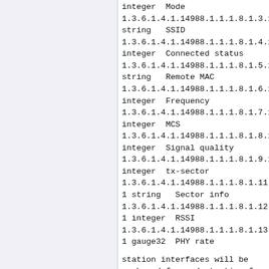integer  Mode
1.3.6.1.4.1.14988.1.1.1.8.1.3.1
string   SSID
1.3.6.1.4.1.14988.1.1.1.8.1.4.1
integer  Connected status
1.3.6.1.4.1.14988.1.1.1.8.1.5.1
string   Remote MAC
1.3.6.1.4.1.14988.1.1.1.8.1.6.1
integer  Frequency
1.3.6.1.4.1.14988.1.1.1.8.1.7.1
integer  MCS
1.3.6.1.4.1.14988.1.1.1.8.1.8.1
integer  Signal quality
1.3.6.1.4.1.14988.1.1.1.8.1.9.1
integer  tx-sector
1.3.6.1.4.1.14988.1.1.1.8.1.11.
1 string   Sector info
1.3.6.1.4.1.14988.1.1.1.8.1.12.
1 integer  RSSI
1.3.6.1.4.1.14988.1.1.1.8.1.13.
1 gauge32  PHY rate
station interfaces will be numbered forward starting from this point
1.1.1.8(+1).1.6.1  integer Frequency

...
etc